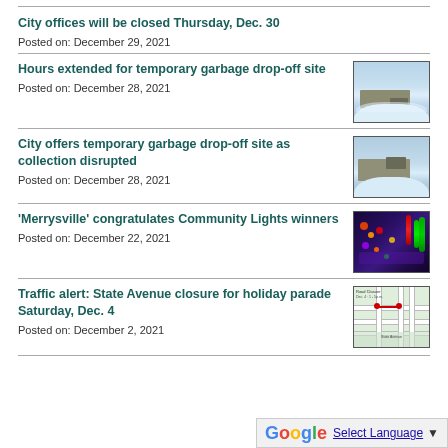City offices will be closed Thursday, Dec. 30
Posted on: December 29, 2021
Hours extended for temporary garbage drop-off site
Posted on: December 28, 2021
[Figure (photo): Truck near snowy building with snow piles]
City offers temporary garbage drop-off site as collection disrupted
Posted on: December 28, 2021
[Figure (photo): Truck near snowy building with snow piles]
'Merrysville' congratulates Community Lights winners
Posted on: December 22, 2021
[Figure (photo): Colorful Christmas lights display at night]
Traffic alert: State Avenue closure for holiday parade Saturday, Dec. 4
Posted on: December 2, 2021
[Figure (map): Map of State Avenue closure with road markings]